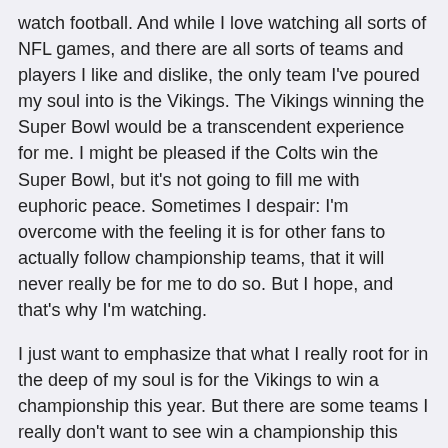watch football. And while I love watching all sorts of NFL games, and there are all sorts of teams and players I like and dislike, the only team I've poured my soul into is the Vikings. The Vikings winning the Super Bowl would be a transcendent experience for me. I might be pleased if the Colts win the Super Bowl, but it's not going to fill me with euphoric peace. Sometimes I despair: I'm overcome with the feeling it is for other fans to actually follow championship teams, that it will never really be for me to do so. But I hope, and that's why I'm watching.
I just want to emphasize that what I really root for in the deep of my soul is for the Vikings to win a championship this year. But there are some teams I really don't want to see win a championship this season.
Teams I don't like, and if any of these teams wins a Super Bowl, I probably wouldn't want to read anything about football for the entire offseason.
New England Patriots: Enough Boston. Enough Tom Brady. Enough Bill Belichick. I don't want this anymore.